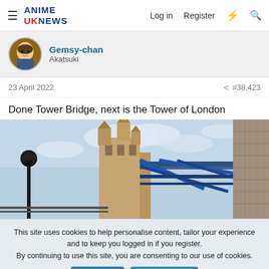ANIME UK NEWS  Log in  Register
Gemsy-chan
Akatsuki
23 April 2022  #38,423
Done Tower Bridge, next is the Tower of London
[Figure (photo): Photo of Tower Bridge in London, viewed from below showing the Victorian Gothic towers and blue steel bridge girders against a cloudy sky, with a lamp post on the left and stone wall on the right]
This site uses cookies to help personalise content, tailor your experience and to keep you logged in if you register.
By continuing to use this site, you are consenting to our use of cookies.